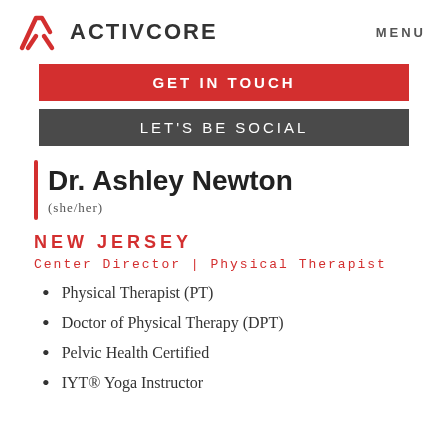ACTIVCORE  MENU
GET IN TOUCH
LET'S BE SOCIAL
Dr. Ashley Newton
(she/her)
NEW JERSEY
Center Director | Physical Therapist
Physical Therapist (PT)
Doctor of Physical Therapy (DPT)
Pelvic Health Certified
IYT® Yoga Instructor (partial/cut off)